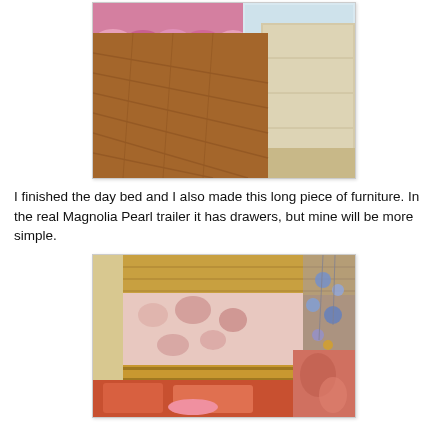[Figure (photo): Interior of a miniature trailer showing wood plank flooring and a light wood furniture piece (long bench/dresser) on the right side, with a pink ruffled bed or fabric visible in the background top.]
I finished the day bed and I also made this long piece of furniture. In the real Magnolia Pearl trailer it has drawers, but mine will be more simple.
[Figure (photo): Interior of a decorative miniature Magnolia Pearl-style trailer showing colorful bohemian fabrics, floral and paisley patterns, cushions, pillows, gold trim, and hanging crystal/bead decorations.]